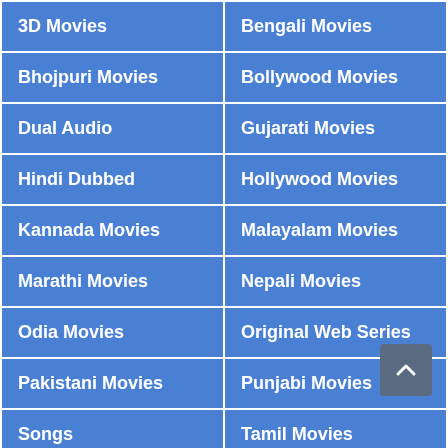| 3D Movies | Bengali Movies |
| Bhojpuri Movies | Bollywood Movies |
| Dual Audio | Gujarati Movies |
| Hindi Dubbed | Hollywood Movies |
| Kannada Movies | Malayalam Movies |
| Marathi Movies | Nepali Movies |
| Odia Movies | Original Web Series |
| Pakistani Movies | Punjabi Movies |
| Songs | Tamil Movies |
| Telugu Movies | Trailer |
| TV Series Dubbed | Tv shows |
| Uncategorized | Urdu Movies |
Recent Posts